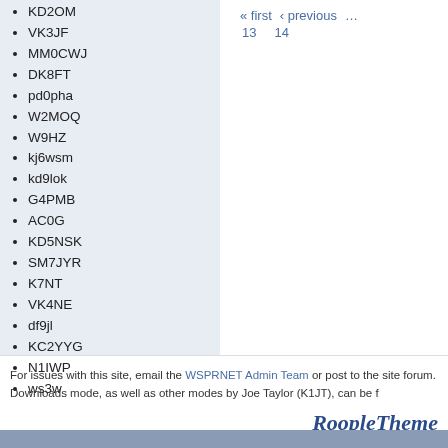KD2OM
VK3JF
MM0CWJ
DK8FT
pd0pha
W2MOQ
W9HZ
kj6wsm
kd9lok
G4PMB
AC0G
KD5NSK
SM7JYR
K7NT
VK4NE
df9jl
KC2YYG
N1IWP
ws3w
« first   ‹ previous   …   13   14
For issues with this site, email the WSPRNET Admin Team or post to the site forum. Downloads mode, as well as other modes by Joe Taylor (K1JT), can be f
RoopleTheme